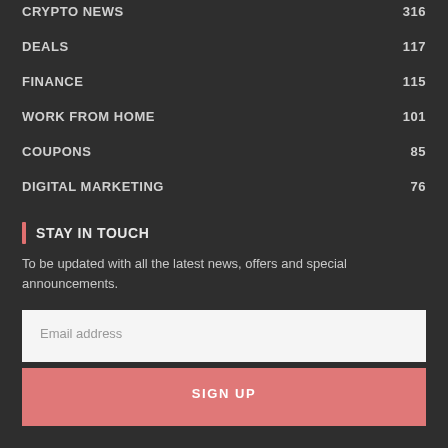CRYPTO NEWS  316
DEALS  117
FINANCE  115
WORK FROM HOME  101
COUPONS  85
DIGITAL MARKETING  76
STAY IN TOUCH
To be updated with all the latest news, offers and special announcements.
Email address
SIGN UP